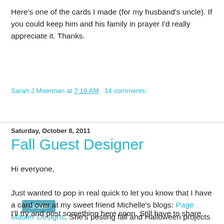Here's one of the cards I made (for my husband's uncle). If you could keep him and his family in prayer I'd really appreciate it. Thanks.
Sarah J Moerman at 7:19 AM   14 comments:
Share
Saturday, October 8, 2011
Fall Guest Designer
Hi everyone,
Just wanted to pop in real quick to let you know that I have a card over at my sweet friend Michelle's blogs: Page Master Designs. She's posting fall and Halloween projects all month long. :)
I'll try and post something here soon. Still have to share